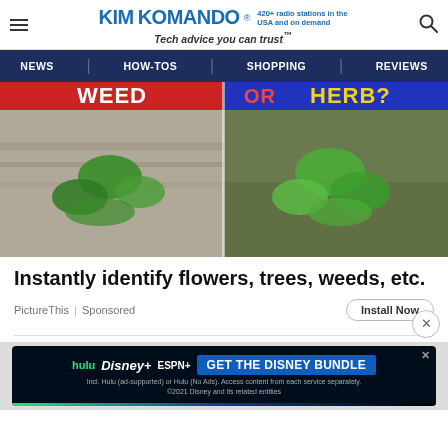KIMKOMANDO® 420+ radio stations in the USA and on demand Tech advice you can trust™
[Figure (screenshot): Navigation bar with NEWS, HOW-TOS, SHOPPING, REVIEWS links on dark blue background]
[Figure (photo): Split image showing two plants - WEED OR HERB? banner text across the top, plant photos below]
Instantly identify flowers, trees, weeds, etc.
PictureThis | Sponsored
[Figure (screenshot): Disney Bundle advertisement: hulu Disney+ ESPN+ GET THE DISNEY BUNDLE. Incl. Hulu (ad-supported) or Hulu (No Ads). Access content from each service separately. ©2021 Disney and its related entities]